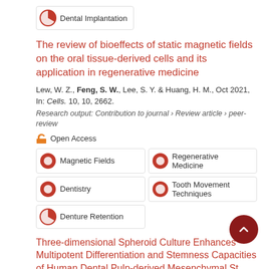Dental Implantation
The review of bioeffects of static magnetic fields on the oral tissue-derived cells and its application in regenerative medicine
Lew, W. Z., Feng, S. W., Lee, S. Y. & Huang, H. M., Oct 2021, In: Cells. 10, 10, 2662.
Research output: Contribution to journal › Review article › peer-review
Open Access
Magnetic Fields
Regenerative Medicine
Dentistry
Tooth Movement Techniques
Denture Retention
Three-dimensional Spheroid Culture Enhances Multipotent Differentiation and Stemness Capacities of Human Dental Pulp-derived Mesenchymal St...